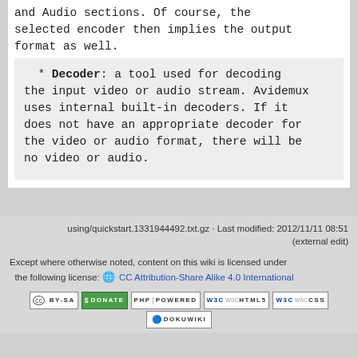and Audio sections. Of course, the selected encoder then implies the output format as well.
* **Decoder**: a tool used for decoding the input video or audio stream. Avidemux uses internal built-in decoders. If it does not have an appropriate decoder for the video or audio format, there will be no video or audio.
using/quickstart.1331944492.txt.gz · Last modified: 2012/11/11 08:51 (external edit)
Except where otherwise noted, content on this wiki is licensed under the following license: 🌐 CC Attribution-Share Alike 4.0 International
[Figure (other): Row of badges: CC BY-SA, Donate, PHP Powered, WSC HTML5, WSC CSS, DokuWiki]